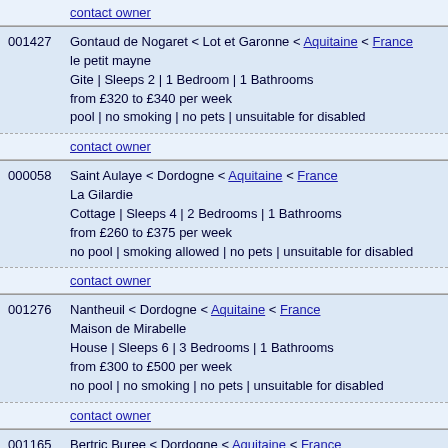contact owner
001427 Gontaud de Nogaret < Lot et Garonne < Aquitaine < France
le petit mayne
Gite | Sleeps 2 | 1 Bedroom | 1 Bathrooms
from £320 to £340 per week
pool | no smoking | no pets | unsuitable for disabled
contact owner
000058 Saint Aulaye < Dordogne < Aquitaine < France
La Gilardie
Cottage | Sleeps 4 | 2 Bedrooms | 1 Bathrooms
from £260 to £375 per week
no pool | smoking allowed | no pets | unsuitable for disabled
contact owner
001276 Nantheuil < Dordogne < Aquitaine < France
Maison de Mirabelle
House | Sleeps 6 | 3 Bedrooms | 1 Bathrooms
from £300 to £500 per week
no pool | no smoking | no pets | unsuitable for disabled
contact owner
001165 Bertric Buree < Dordogne < Aquitaine < France